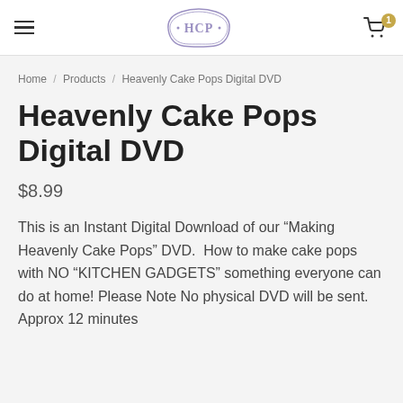HCP [logo] — hamburger menu, cart with 1 item
Home / Products / Heavenly Cake Pops Digital DVD
Heavenly Cake Pops Digital DVD
$8.99
This is an Instant Digital Download of our “Making Heavenly Cake Pops” DVD.  How to make cake pops with NO “KITCHEN GADGETS” something everyone can do at home! Please Note No physical DVD will be sent. Approx 12 minutes